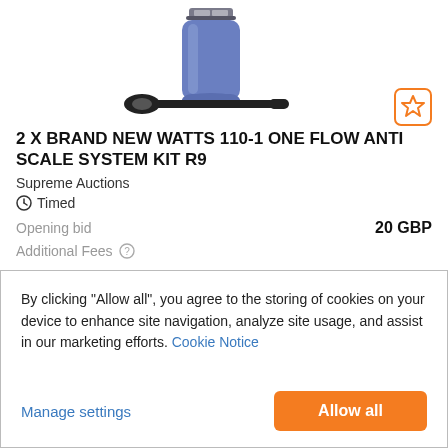[Figure (photo): Product image showing a blue Watts 110-1 One Flow Anti Scale System water filter housing and a black wrench tool]
2 X BRAND NEW WATTS 110-1 ONE FLOW ANTI SCALE SYSTEM KIT R9
Supreme Auctions
Timed
Opening bid   20 GBP
Additional Fees
By clicking "Allow all", you agree to the storing of cookies on your device to enhance site navigation, analyze site usage, and assist in our marketing efforts. Cookie Notice
Manage settings
Allow all